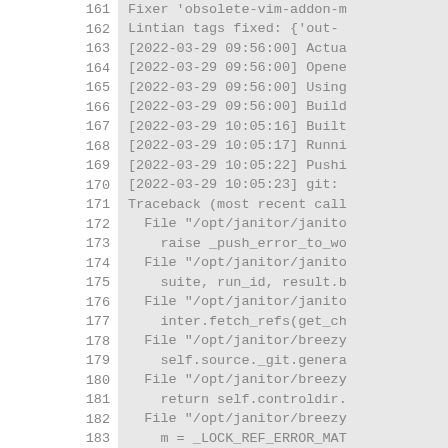161  Fixer 'obsolete-vim-addon-m
162  Lintian tags fixed: {'out-
163  [2022-03-29 09:56:00] Actua
164  [2022-03-29 09:56:00] Opene
165  [2022-03-29 09:56:00] Using
166  [2022-03-29 09:56:00] Build
167  [2022-03-29 10:05:16] Built
168  [2022-03-29 10:05:17] Runni
169  [2022-03-29 10:05:22] Pushi
170  [2022-03-29 10:05:23] git:
171  Traceback (most recent call
172    File "/opt/janitor/janito
173      raise _push_error_to_wo
174    File "/opt/janitor/janito
175      suite, run_id, result.b
176    File "/opt/janitor/janito
177      inter.fetch_refs(get_ch
178    File "/opt/janitor/breezy
179      self.source._git.genera
180    File "/opt/janitor/breezy
181      return self.controldir.
182    File "/opt/janitor/breezy
183      m = _LOCK_REF_ERROR_MAT